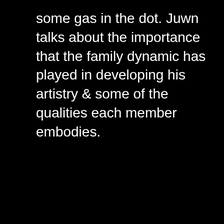some gas in the dot. Juwn talks about the importance that the family dynamic has played in developing his artistry & some of the qualities each member embodies.